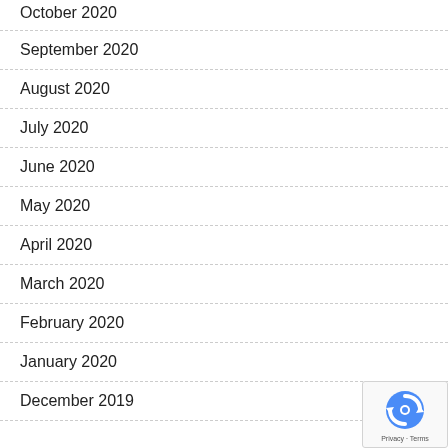October 2020
September 2020
August 2020
July 2020
June 2020
May 2020
April 2020
March 2020
February 2020
January 2020
December 2019
[Figure (logo): reCAPTCHA badge with Privacy and Terms links]